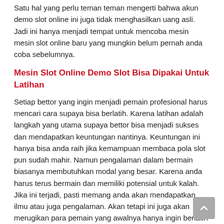Satu hal yang perlu teman teman mengerti bahwa akun demo slot online ini juga tidak menghasilkan uang asli. Jadi ini hanya menjadi tempat untuk mencoba mesin mesin slot online baru yang mungkin belum pernah anda coba sebelumnya.
Mesin Slot Online Demo Slot Bisa Dipakai Untuk Latihan
Setiap bettor yang ingin menjadi pemain profesional harus mencari cara supaya bisa berlatih. Karena latihan adalah langkah yang utama supaya bettor bisa menjadi sukses dan mendapatkan keuntungan nantinya. Keuntungan ini hanya bisa anda raih jika kemampuan membaca pola slot pun sudah mahir. Namun pengalaman dalam bermain biasanya membutuhkan modal yang besar. Karena anda harus terus bermain dan memiliki potensial untuk kalah. Jika ini terjadi, pasti memang anda akan mendapatkan ilmu atau juga pengalaman. Akan tetapi ini juga akan merugikan para pemain yang awalnya hanya ingin berlatih saja.